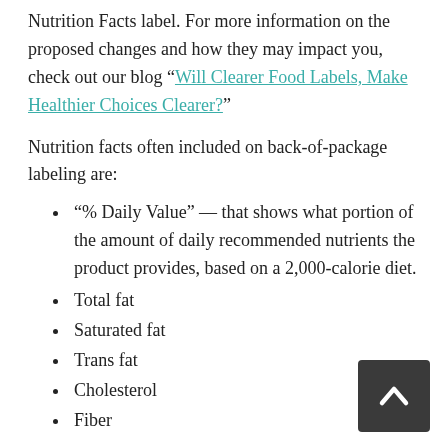Nutrition Facts label. For more information on the proposed changes and how they may impact you, check out our blog “Will Clearer Food Labels, Make Healthier Choices Clearer?”
Nutrition facts often included on back-of-package labeling are:
“% Daily Value” — that shows what portion of the amount of daily recommended nutrients the product provides, based on a 2,000-calorie diet.
Total fat
Saturated fat
Trans fat
Cholesterol
Fiber